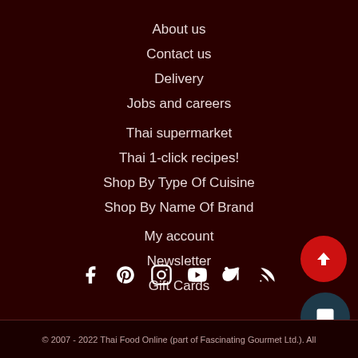About us
Contact us
Delivery
Jobs and careers
Thai supermarket
Thai 1-click recipes!
Shop By Type Of Cuisine
Shop By Name Of Brand
My account
Newsletter
Gift Cards
[Figure (other): Social media icons: Facebook, Pinterest, Instagram, YouTube, RSS]
© 2007 - 2022 Thai Food Online (part of Fascinating Gourmet Ltd.). All